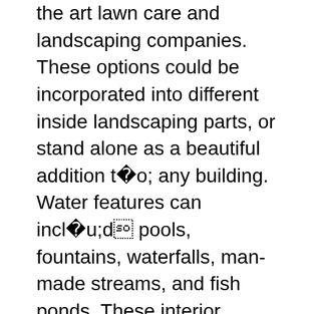the art lawn care and landscaping companies. These options could be incorporated into different inside landscaping parts, or stand alone as a beautiful addition to any building. Water features can include pools, fountains, waterfalls, man-made streams, and fish ponds. These interior gardens could be made up of trees, shrubs, flowers, herbs or best lesbian orgasm greens. They often incorporate a wide range of parts, together with water options, stonework, seating, and fireplaces. It's necessary to think about quite a lot of factors when planning an interior garden, corresponding to humidity, out there gentle, and temperature of the enclosed area.
Two members of our Installation team are